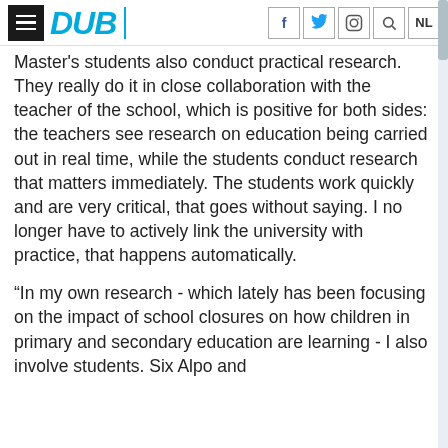DUB — with social icons: f, twitter, instagram, search, NL
Master's students also conduct practical research. They really do it in close collaboration with the teacher of the school, which is positive for both sides: the teachers see research on education being carried out in real time, while the students conduct research that matters immediately. The students work quickly and are very critical, that goes without saying. I no longer have to actively link the university with practice, that happens automatically.
“In my own research - which lately has been focusing on the impact of school closures on how children in primary and secondary education are learning - I also involve students. Six Alpo and